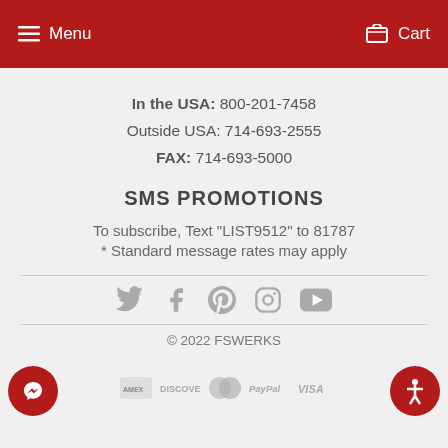Menu  Cart
In the USA: 800-201-7458
Outside USA: 714-693-2555
FAX: 714-693-5000
SMS PROMOTIONS
To subscribe, Text "LIST9512" to 81787
* Standard message rates may apply
[Figure (illustration): Social media icons row: Twitter, Facebook, Pinterest, Instagram, YouTube]
© 2022 FSWERKS
[Figure (illustration): Payment method logos: Amex, Discover, Mastercard, PayPal, Visa. Plus Messenger and Accessibility icons.]